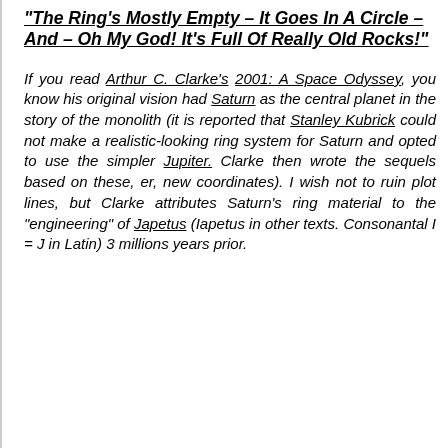"The Ring's Mostly Empty – It Goes In A Circle – And – Oh My God! It's Full Of Really Old Rocks!"
If you read Arthur C. Clarke's 2001: A Space Odyssey, you know his original vision had Saturn as the central planet in the story of the monolith (it is reported that Stanley Kubrick could not make a realistic-looking ring system for Saturn and opted to use the simpler Jupiter. Clarke then wrote the sequels based on these, er, new coordinates). I wish not to ruin plot lines, but Clarke attributes Saturn's ring material to the "engineering" of Japetus (Iapetus in other texts. Consonantal I = J in Latin) 3 millions years prior.